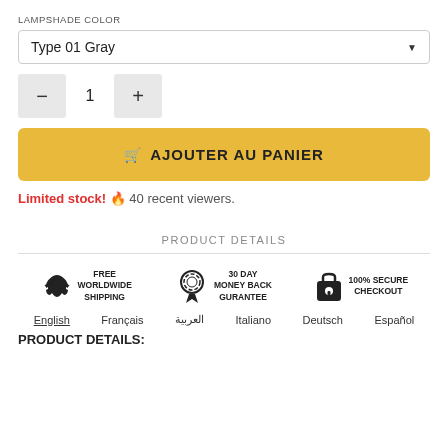LAMPSHADE COLOR
Type 01 Gray
1
🛒 AJOUTER AU PANIER
Limited stock! 🔥 40 recent viewers.
PRODUCT DETAILS
[Figure (infographic): Trust badges: Free Worldwide Shipping (plane icon), 30 Day Money Back Guarantee (medal icon), 100% Secure Checkout (lock icon)]
English  Français  العربية  Italiano  Deutsch  Español
PRODUCT DETAILS: